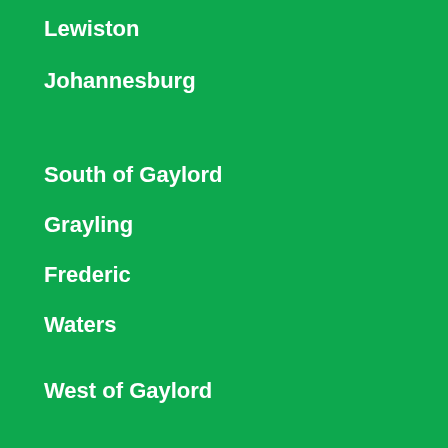Lewiston
Johannesburg
South of Gaylord
Grayling
Frederic
Waters
West of Gaylord
Mancelona
Boyne City
Boyne Falls
Elmira